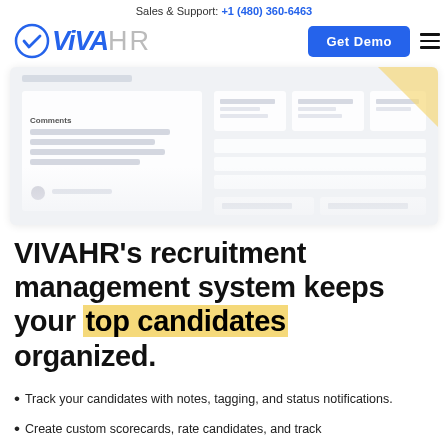Sales & Support: +1 (480) 360-6463
[Figure (logo): VIVAHR logo with blue circle checkmark, blue VIVA text and gray HR text, plus Get Demo blue button and hamburger menu icon]
[Figure (screenshot): Blurred/faded screenshot of the VIVAHR recruitment management system interface showing a form with Comments section and candidate fields]
VIVAHR's recruitment management system keeps your top candidates organized.
Track your candidates with notes, tagging, and status notifications.
Create custom scorecards, rate candidates, and track important details during your hiring process application.